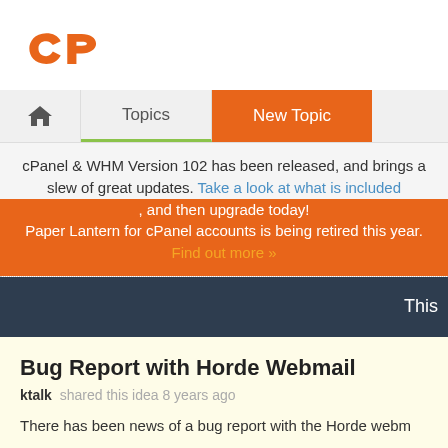[Figure (logo): cPanel orange logo with 'cP' letters]
Home | Topics | New Topic
cPanel & WHM Version 102 has been released, and brings a slew of great updates. Take a look at what is included, and then upgrade today! Paper Lantern for cPanel accounts is being retired this year. Find out more »
This
Bug Report with Horde Webmail
ktalk  shared this idea 8 years ago
There has been news of a bug report with the Horde webm...